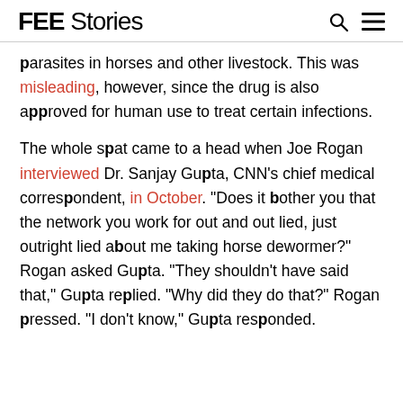FEE Stories
parasites in horses and other livestock. This was misleading, however, since the drug is also approved for human use to treat certain infections.

The whole spat came to a head when Joe Rogan interviewed Dr. Sanjay Gupta, CNN's chief medical correspondent, in October. "Does it bother you that the network you work for out and out lied, just outright lied about me taking horse dewormer?" Rogan asked Gupta. "They shouldn't have said that," Gupta replied. “Why did they do that?” Rogan pressed. "I don't know," Gupta responded.